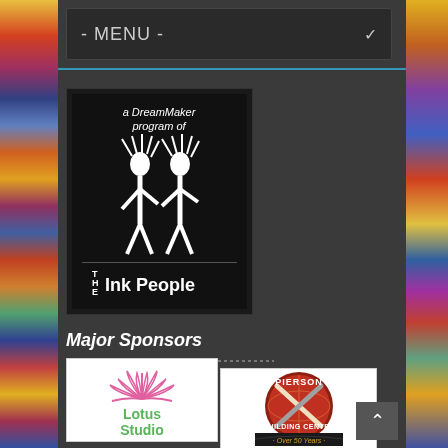- MENU -
[Figure (logo): The Ink People logo - black background with stylized figures and text reading 'a DreamMaker program of THE INK PEOPLE']
Major Sponsors
[Figure (logo): Lotus Studio logo - pink lotus flower above green text reading 'Lotus Studio']
[Figure (logo): Pierson Building Center logo - circular emblem with crossed tools on red/brown background, text 'PIERSON BUILDING CENTER Over 50 Years']